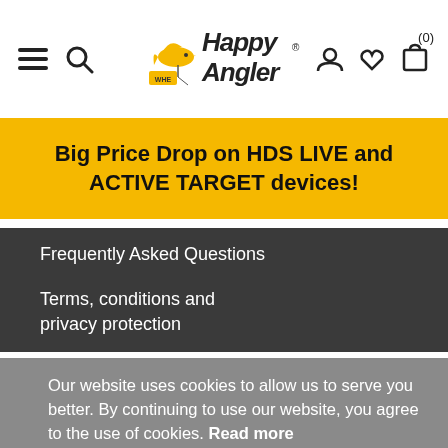[Figure (logo): Happy Angler logo with bird/fish icon in yellow, text in black]
Big Price Drop on HDS LIVE and ACTIVE TARGET devices!
Frequently Asked Questions
Terms, conditions and privacy protection
Our website uses cookies to allow us to serve you better. By continuing to use our website, you agree to the use of cookies. Read more
Got it!